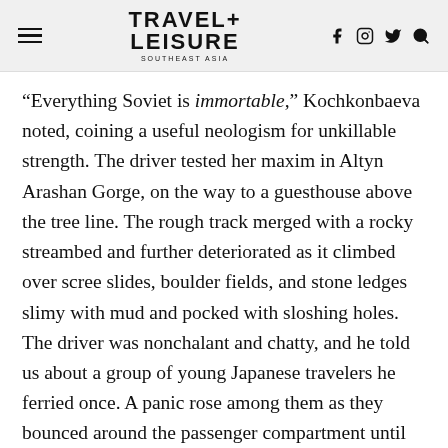TRAVEL+ LEISURE
“Everything Soviet is immortable,” Kochkonbaeva noted, coining a useful neologism for unkillable strength. The driver tested her maxim in Altyn Arashan Gorge, on the way to a guesthouse above the tree line. The rough track merged with a rocky streambed and further deteriorated as it climbed over scree slides, boulder fields, and stone ledges slimy with mud and pocked with sloshing holes. The driver was nonchalant and chatty, and he told us about a group of young Japanese travelers he ferried once. A panic rose among them as they bounced around the passenger compartment until one, out of her mind with fright, pushed open the door and leapt from the moving vehicle.
“What’s the secret to not getting stuck?” I asked, as the UAZ whined through mudholes and growled over rock. Kochkonbaeva laughed hard before catching her breath to